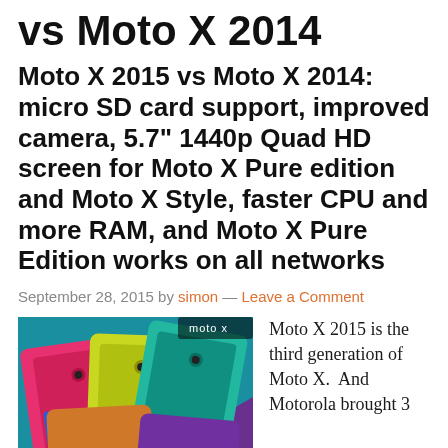vs Moto X 2014
Moto X 2015 vs Moto X 2014: micro SD card support, improved camera, 5.7" 1440p Quad HD screen for Moto X Pure edition and Moto X Style, faster CPU and more RAM, and Moto X Pure Edition works on all networks
September 28, 2015 by simon — Leave a Comment
[Figure (photo): Multiple Moto X smartphones fanned out displaying colorful back covers in pink, teal, yellow, green, purple and wood grain, with the moto x logo visible on the top right device]
Moto X 2015 is the third generation of Moto X.  And Motorola brought 3